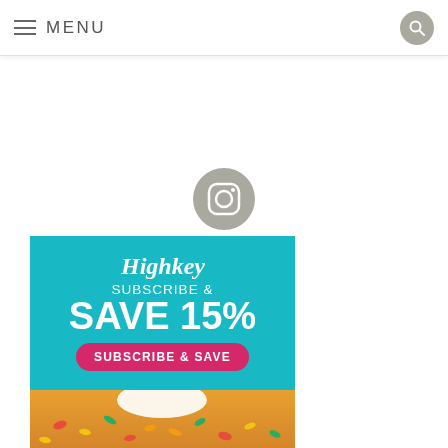MENU
[Figure (logo): Instagram icon — grey circle with white camera outline]
[Figure (infographic): Highkey brand advertisement: teal background, white cursive Highkey logo, text 'SUBSCRIBE & SAVE 15%', pink rounded button 'SUBSCRIBE & SAVE', bottom shows a bowl of colorful cereal]